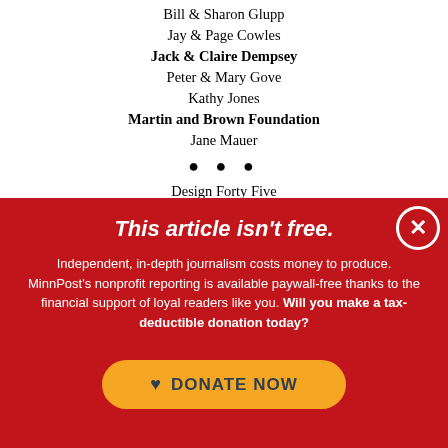Bill & Sharon Glupp
Jay & Page Cowles
Jack & Claire Dempsey
Peter & Mary Gove
Kathy Jones
Martin and Brown Foundation
Jane Mauer
Design Forty Five
Nancy Gibson and Ron Sternal
Lorna and Tom Gleason
Jim Lenfestey
This article isn't free.
Independent, in-depth journalism costs money to produce. MinnPost's nonprofit reporting is available paywall-free thanks to the financial support of loyal readers like you. Will you make a tax-deductible donation today?
DONATE NOW